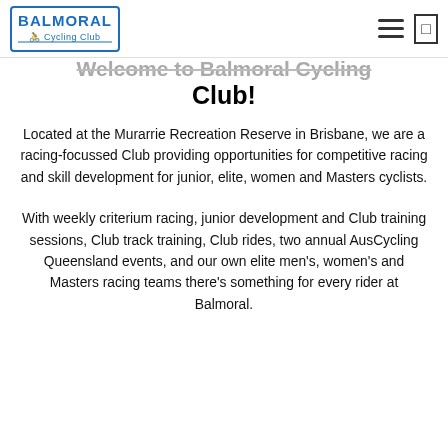Balmoral Cycling Club — navigation header with logo, hamburger menu, and search icon
Welcome to Balmoral Cycling Club!
Located at the Murarrie Recreation Reserve in Brisbane, we are a racing-focussed Club providing opportunities for competitive racing and skill development for junior, elite, women and Masters cyclists.
With weekly criterium racing, junior development and Club training sessions, Club track training, Club rides, two annual AusCycling Queensland events, and our own elite men's, women's and Masters racing teams there's something for every rider at Balmoral.